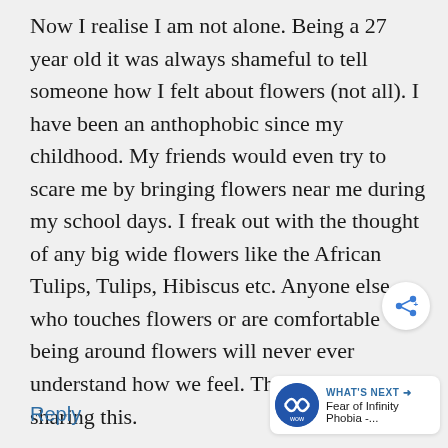Now I realise I am not alone. Being a 27 year old it was always shameful to tell someone how I felt about flowers (not all). I have been an anthophobic since my childhood. My friends would even try to scare me by bringing flowers near me during my school days. I freak out with the thought of any big wide flowers like the African Tulips, Tulips, Hibiscus etc. Anyone else who touches flowers or are comfortable being around flowers will never ever understand how we feel. Thank you for sharing this.
Reply